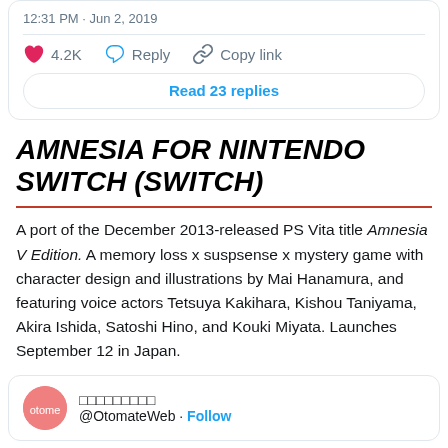12:31 PM · Jun 2, 2019
4.2K  Reply  Copy link
Read 23 replies
AMNESIA FOR NINTENDO SWITCH (SWITCH)
A port of the December 2013-released PS Vita title Amnesia V Edition. A memory loss x suspsense x mystery game with character design and illustrations by Mai Hanamura, and featuring voice actors Tetsuya Kakihara, Kishou Taniyama, Akira Ishida, Satoshi Hino, and Kouki Miyata. Launches September 12 in Japan.
□□□□□□□□□ @OtomateWeb · Follow